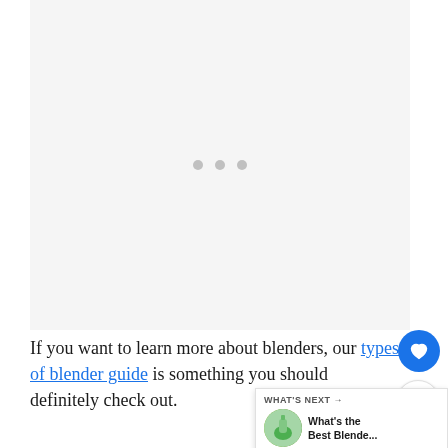[Figure (other): Large light gray placeholder content area with three gray loading dots centered in the middle]
If you want to learn more about blenders, our types of blender guide is something you should definitely check out.
[Figure (illustration): WHAT'S NEXT widget showing a circular thumbnail of a green blender and text: What's the Best Blende...]